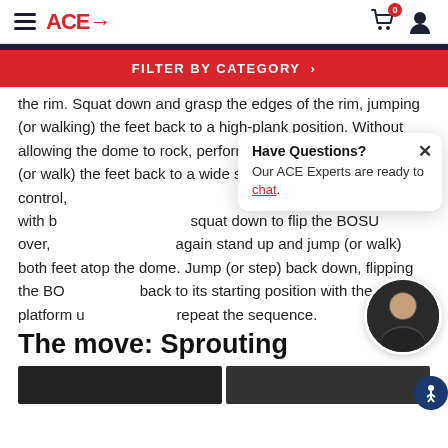ACE→ (navigation header with cart and user icons)
FILTER BY CATEGORY ›
the rim. Squat down and grasp the edges of the rim, jumping (or walking) the feet back to a high-plank position. Without allowing the dome to rock, perform a push-up and then jump (or walk) the feet back to a wide starting position. With control, lifting the BOSU off the floor with both hands, squat down to flip the BOSU over, again stand up and jump (or walk) both feet atop the dome. Jump (or step) back down, flipping the BOSU back to its starting position with the platform up and repeat the sequence.
The move: Sprouting
[Figure (photo): Two dark image thumbnails at the bottom of the page]